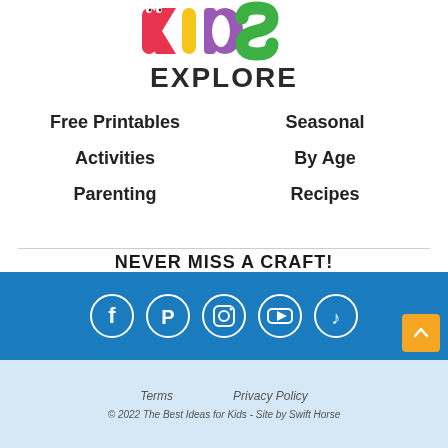[Figure (logo): Colorful 'KIDS' logo with cartoon letters on white background]
EXPLORE
Free Printables
Seasonal
Activities
By Age
Parenting
Recipes
NEVER MISS A CRAFT!
[Figure (infographic): Social media icons: Facebook, Pinterest, Instagram, YouTube, TikTok in white circles on blue background]
Terms   Privacy Policy
© 2022 The Best Ideas for Kids - Site by Swift Horse